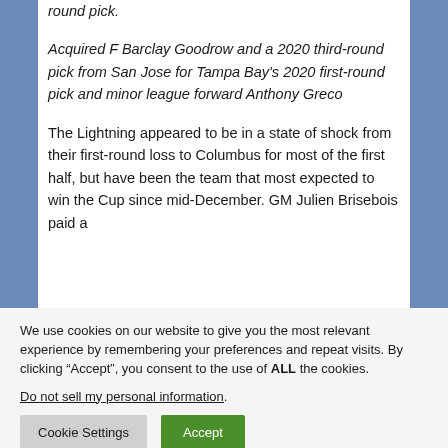round pick.
Acquired F Barclay Goodrow and a 2020 third-round pick from San Jose for Tampa Bay's 2020 first-round pick and minor league forward Anthony Greco
The Lightning appeared to be in a state of shock from their first-round loss to Columbus for most of the first half, but have been the team that most expected to win the Cup since mid-December. GM Julien Brisebois paid a
We use cookies on our website to give you the most relevant experience by remembering your preferences and repeat visits. By clicking “Accept”, you consent to the use of ALL the cookies.
Do not sell my personal information.